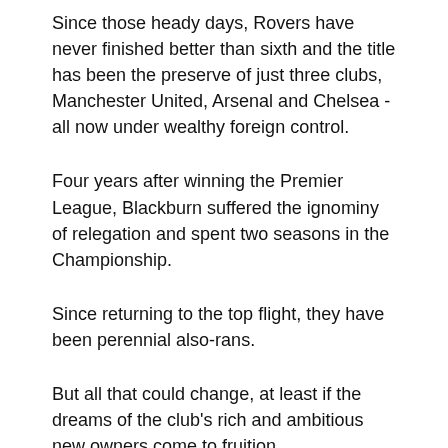Since those heady days, Rovers have never finished better than sixth and the title has been the preserve of just three clubs, Manchester United, Arsenal and Chelsea - all now under wealthy foreign control.
Four years after winning the Premier League, Blackburn suffered the ignominy of relegation and spent two seasons in the Championship.
Since returning to the top flight, they have been perennial also-rans.
But all that could change, at least if the dreams of the club's rich and ambitious new owners come to fruition.
The VH Group are a poultry conglomerate owned by the Rao family and based in Pune, 70 miles south-east of Mumbai.
The R...